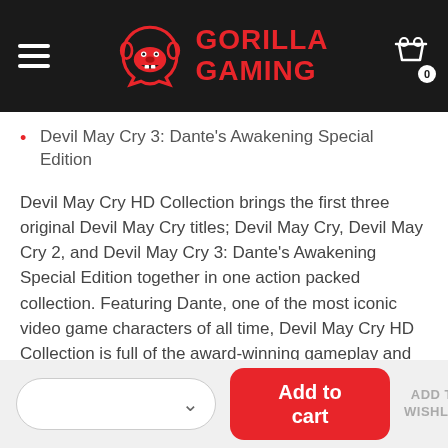GORILLA GAMING
Devil May Cry 3: Dante's Awakening Special Edition
Devil May Cry HD Collection brings the first three original Devil May Cry titles; Devil May Cry, Devil May Cry 2, and Devil May Cry 3: Dante's Awakening Special Edition together in one action packed collection. Featuring Dante, one of the most iconic video game characters of all time, Devil May Cry HD Collection is full of the award-winning gameplay and style that the series has become known for, now playable on modern consoles.
Originally debuting in 2001, Devil May Cry